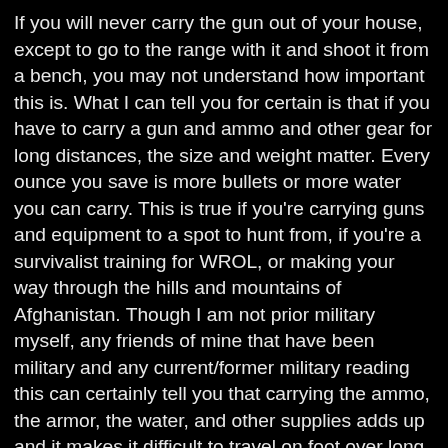If you will never carry the gun out of your house, except to go to the range with it and shoot it from a bench, you may not understand how important this is. What I can tell you for certain is that if you have to carry a gun and ammo and other gear for long distances, the size and weight matter. Every ounce you save is more bullets or more water you can carry. This is true if you're carrying guns and equipment to a spot to hunt from, if you're a survivalist training for WROL, or making your way through the hills and mountains of Afghanistan. Though I am not prior military myself, any friends of mine that have been military and any current/former military reading this can certainly tell you that carrying the ammo, the armor, the water, and other supplies adds up and it makes it difficult to travel on foot over long distances. (And, that is true of people that are in tremendous shape!) A few ounces here and there turn into pounds and then the pounds add up too. It weighs you down, slows you down, and wears you out. That adds up to you being less effective when your life depends on your ability to act. Why carry an 7.9 lb Tavor when a 5.8 lb BCM AR 15 will do the job equally well?

When you read somewhere on this site that something is too